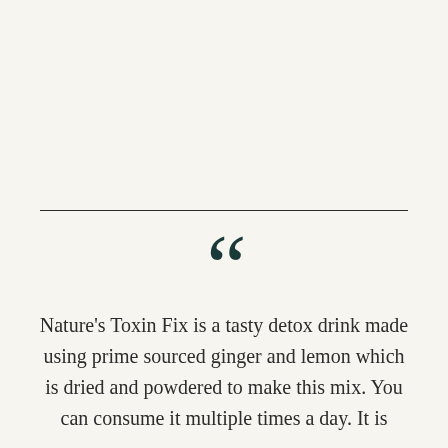Nature's Toxin Fix is a tasty detox drink made using prime sourced ginger and lemon which is dried and powdered to make this mix. You can consume it multiple times a day. It is